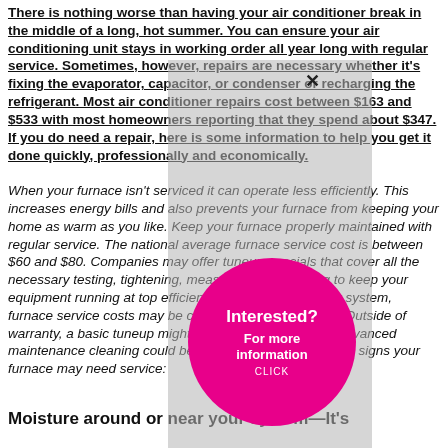There is nothing worse than having your air conditioner break in the middle of a long, hot summer. You can ensure your air conditioning unit stays in working order all year long with regular service. Sometimes, however, repairs are necessary whether it's fixing the evaporator, capacitor, or condenser or recharging the refrigerant. Most air conditioner repairs cost between $163 and $533 with most homeowners reporting that they spend about $347. If you do need a repair, here is some information to help you get it done quickly, professionally and economically.
When your furnace isn't serviced it can operate less efficiently. This increases energy bills and also prevents your furnace from keeping your home as warm as you like. Keep your furnace properly maintained with regular service. The national average furnace service cost is between $60 and $80. Companies may offer tuneup specials that cover all the necessary testing, tightening, measuring and cleaning to keep your equipment running at top efficiency. If you have a newer system, furnace service costs may be covered by your warranty. Outside of warranty, a basic tuneup might start at $58 and a more advanced maintenance cleaning could be over $120. Here are some signs your furnace may need service:
[Figure (infographic): A gray semi-transparent overlay rectangle with an X close button at the top right, containing a pink/magenta circle in the center with text: 'Interested? For more information CLICK']
Moisture around or near your system—It's